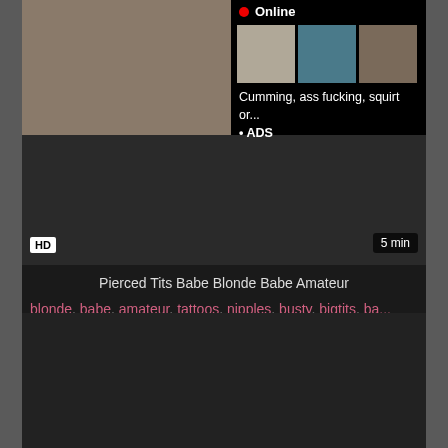[Figure (screenshot): Video thumbnail showing a woman, with an ad overlay in the top right corner showing 'Online' status, thumbnail previews, and text 'Cumming, ass fucking, squirt or... • ADS']
Pierced Tits Babe Blonde Babe Amateur
blonde, babe, amateur, tattoos, nipples, busty, bigtits, ba...
[Figure (screenshot): Dark video thumbnail area below]